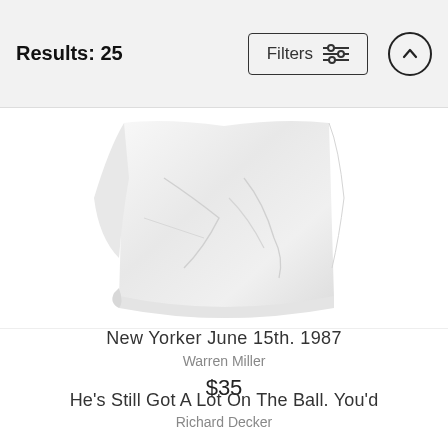Results: 25
[Figure (photo): A white crumpled t-shirt laid flat, bottom portion visible on white background]
New Yorker June 15th. 1987
Warren Miller
$35
He's Still Got A Lot On The Ball. You'd
Richard Decker